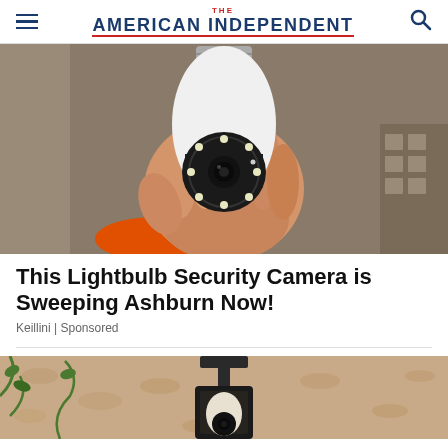THE AMERICAN INDEPENDENT
[Figure (photo): A hand holding a white lightbulb-shaped security camera with LED ring and camera lens, shown against a cardboard box background. Person is wearing an orange glove.]
This Lightbulb Security Camera is Sweeping Ashburn Now!
Keillini | Sponsored
[Figure (photo): A black outdoor light fixture mounted on a textured wall, with a lightbulb security camera installed in it.]